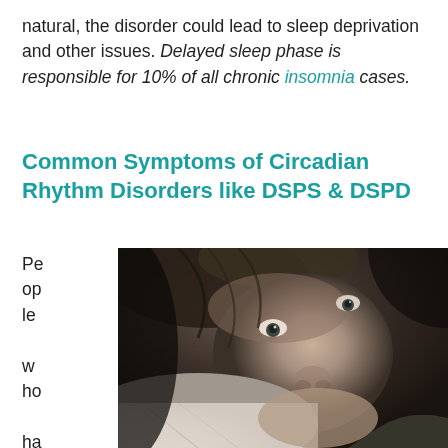natural, the disorder could lead to sleep deprivation and other issues. Delayed sleep phase is responsible for 10% of all chronic insomnia cases.
Common Symptoms of Circadian Rhythm Disorders like DSPS & DSPD
People who have a dela
[Figure (photo): Black and white close-up photo of a person lying on a pillow, looking distressed or sleep-deprived, eyes open and slightly anxious]